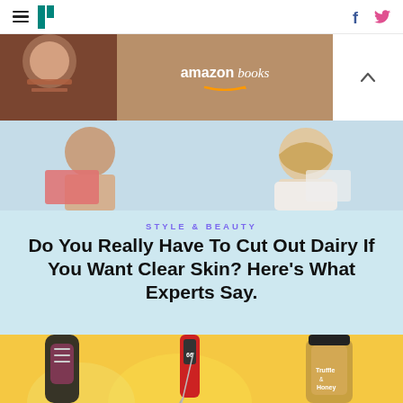HuffPost navigation with hamburger menu, logo, Facebook and Twitter icons
[Figure (photo): Amazon Books advertisement banner with person reading a book on left and text 'amazon books' on right with chevron]
[Figure (photo): Two people reading books - article hero image on light blue background]
STYLE & BEAUTY
Do You Really Have To Cut Out Dairy If You Want Clear Skin? Here's What Experts Say.
[Figure (photo): Product photo on yellow background showing a blender bottle, red digital meat thermometer, and a jar of Truffle & Honey]